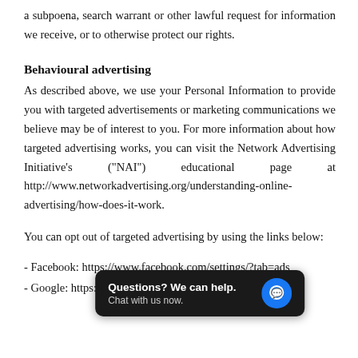a subpoena, search warrant or other lawful request for information we receive, or to otherwise protect our rights.
Behavioural advertising
As described above, we use your Personal Information to provide you with targeted advertisements or marketing communications we believe may be of interest to you. For more information about how targeted advertising works, you can visit the Network Advertising Initiative’s (“NAI”) educational page at http://www.networkadvertising.org/understanding-online-advertising/how-does-it-work.
You can opt out of targeted advertising by using the links below:
- Facebook: https://www.facebook.com/settings/?tab=ads
- Google: https://www.google.com/settings/ads/anonymous